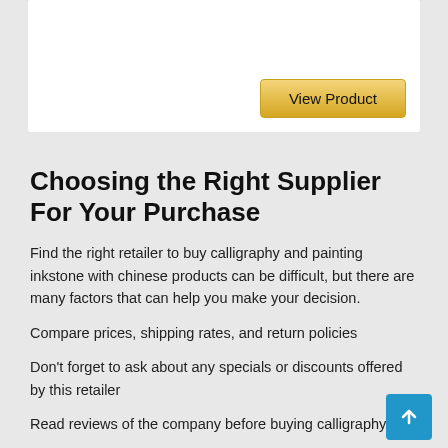[Figure (other): Product card with white background and a 'View Product' golden button at bottom right]
Choosing the Right Supplier For Your Purchase
Find the right retailer to buy calligraphy and painting inkstone with chinese products can be difficult, but there are many factors that can help you make your decision.
Compare prices, shipping rates, and return policies
Don't forget to ask about any specials or discounts offered by this retailer
Read reviews of the company before buying calligraphy